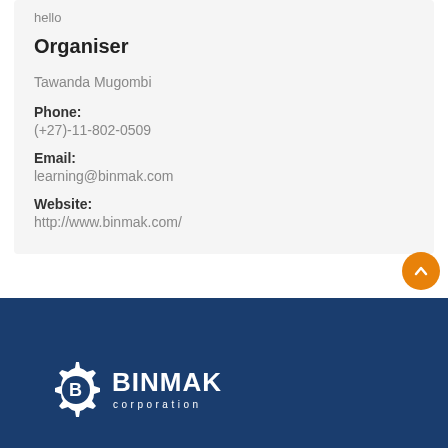hello
Organiser
Tawanda Mugombi
Phone:
(+27)-11-802-0509
Email:
learning@binmak.com
Website:
http://www.binmak.com/
[Figure (logo): Binmak Corporation logo — white gear/cog icon with 'BINMAK corporation' text on dark blue background]